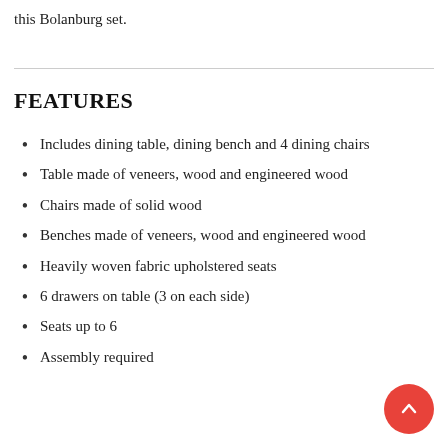this Bolanburg set.
FEATURES
Includes dining table, dining bench and 4 dining chairs
Table made of veneers, wood and engineered wood
Chairs made of solid wood
Benches made of veneers, wood and engineered wood
Heavily woven fabric upholstered seats
6 drawers on table (3 on each side)
Seats up to 6
Assembly required